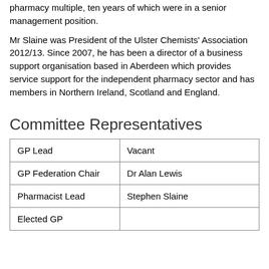pharmacy multiple, ten years of which were in a senior management position.
Mr Slaine was President of the Ulster Chemists' Association 2012/13. Since 2007, he has been a director of a business support organisation based in Aberdeen which provides service support for the independent pharmacy sector and has members in Northern Ireland, Scotland and England.
Committee Representatives
| GP Lead | Vacant |
| GP Federation Chair | Dr Alan Lewis |
| Pharmacist Lead | Stephen Slaine |
| Elected GP |  |